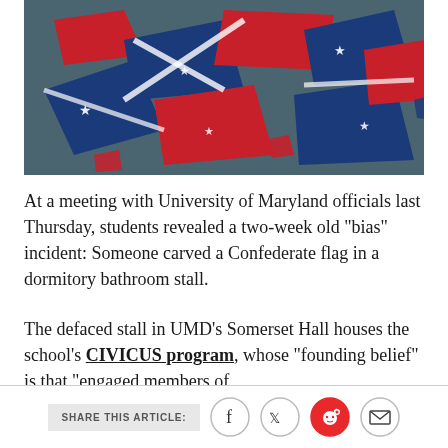[Figure (photo): Broken pieces of a Confederate flag scattered on the ground, rendered as shattered fragments with red, blue, and white colors with stars.]
At a meeting with University of Maryland officials last Thursday, students revealed a two-week old “bias” incident: Someone carved a Confederate flag in a dormitory bathroom stall.
The defaced stall in UMD’s Somerset Hall houses the school’s CIVICUS program, whose “founding belief” is that “engaged members of